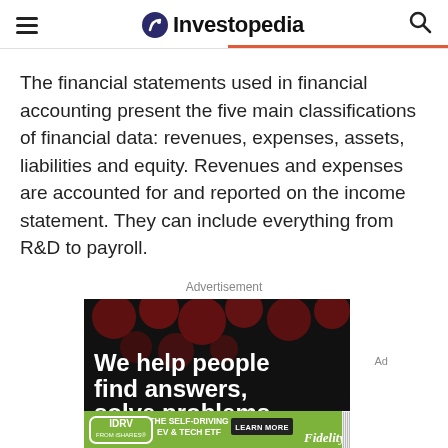Investopedia
The financial statements used in financial accounting present the five main classifications of financial data: revenues, expenses, assets, liabilities and equity. Revenues and expenses are accounted for and reported on the income statement. They can include everything from R&D to payroll.
Advertisement
[Figure (illustration): Fidelity IDRV advertisement banner showing 'We help people find answers, solve problems' text on dark background with red bokeh dots, and a bottom green bar with IDRV FROM iSHARES, THE SELF-DRIVING EV & TECH ETF, LEARN MORE button, and Fidelity logo.]